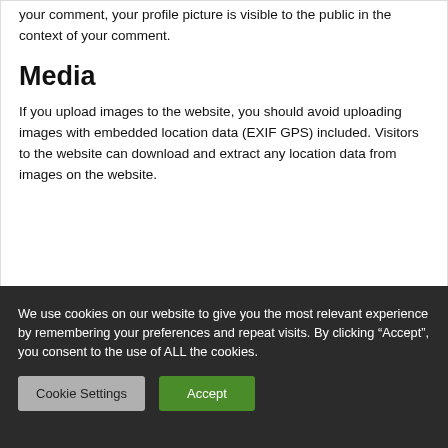your comment, your profile picture is visible to the public in the context of your comment.
Media
If you upload images to the website, you should avoid uploading images with embedded location data (EXIF GPS) included. Visitors to the website can download and extract any location data from images on the website.
We use cookies on our website to give you the most relevant experience by remembering your preferences and repeat visits. By clicking “Accept”, you consent to the use of ALL the cookies.